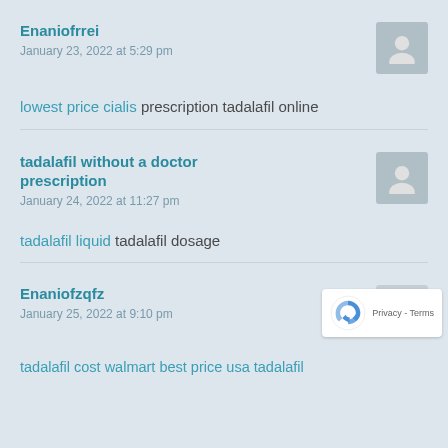Enaniofrrei
January 23, 2022 at 5:29 pm
lowest price cialis prescription tadalafil online
tadalafil without a doctor prescription
January 24, 2022 at 11:27 pm
tadalafil liquid tadalafil dosage
Enaniofzqfz
January 25, 2022 at 9:10 pm
tadalafil cost walmart best price usa tadalafil